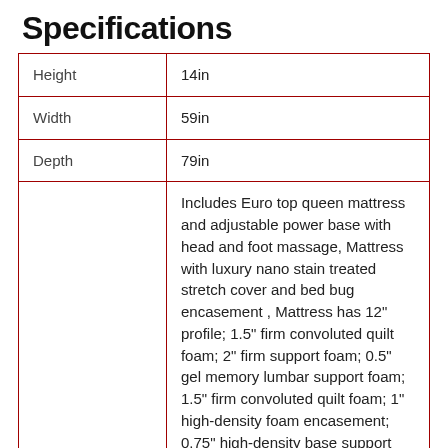Specifications
|  |  |
| --- | --- |
| Height | 14in |
| Width | 59in |
| Depth | 79in |
|  | Includes Euro top queen mattress and adjustable power base with head and foot massage, Mattress with luxury nano stain treated stretch cover and bed bug encasement , Mattress has 12" profile; 1.5" firm convoluted quilt foam; 2" firm support foam; 0.5" gel memory lumbar support foam; 1.5" firm convoluted quilt foam; 1" high-density foam encasement; 0.75" high-density base support foam, 638 15-gauge |